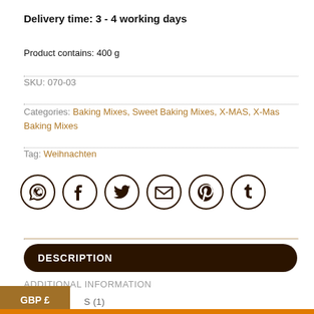Delivery time: 3 - 4 working days
Product contains: 400 g
SKU: 070-03
Categories: Baking Mixes, Sweet Baking Mixes, X-MAS, X-Mas Baking Mixes
Tag: Weihnachten
[Figure (infographic): Six social sharing icon buttons in circles: WhatsApp, Facebook, Twitter, Email, Pinterest, Tumblr]
DESCRIPTION
ADDITIONAL INFORMATION
GBP £
S (1)